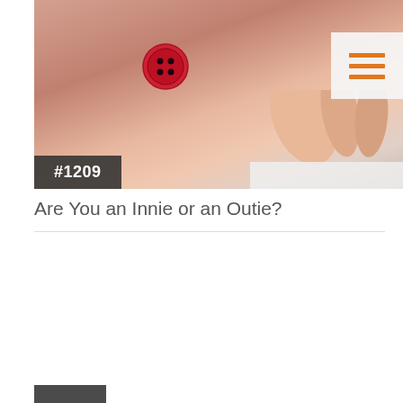[Figure (photo): Close-up photo of a baby's belly with a red button placed near the navel, and a hand visible holding a diaper in the background. Dark badge with #1209 in the lower left corner. Menu icon (three orange horizontal lines) in upper right on light background.]
Are You an Innie or an Outie?